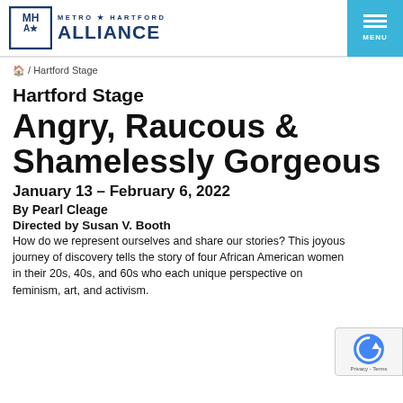METRO HARTFORD ALLIANCE | MENU
🏠 / Hartford Stage
Hartford Stage
Angry, Raucous & Shamelessly Gorgeous
January 13 – February 6, 2022
By Pearl Cleage
Directed by Susan V. Booth
How do we represent ourselves and share our stories? This joyous journey of discovery tells the story of four African American women in their 20s, 40s, and 60s who each unique perspective on feminism, art, and activism.